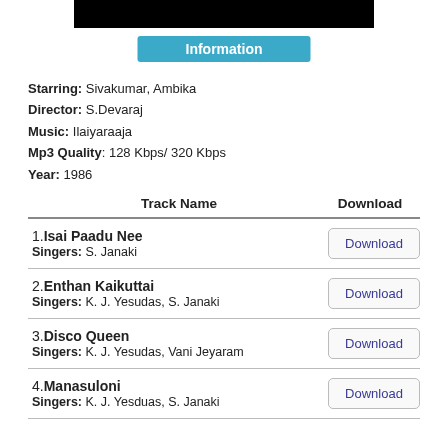[Figure (other): Black rectangular banner/logo bar at top]
Information
Starring: Sivakumar, Ambika
Director: S.Devaraj
Music: Ilaiyaraaja
Mp3 Quality: 128 Kbps/ 320 Kbps
Year: 1986
| Track Name | Download |
| --- | --- |
| 1.Isai Paadu Nee
Singers: S. Janaki | Download |
| 2.Enthan Kaikuttai
Singers: K. J. Yesudas, S. Janaki | Download |
| 3.Disco Queen
Singers: K. J. Yesudas, Vani Jeyaram | Download |
| 4.Manasuloni
Singers: K. J. Yesduas, S. Janaki | Download |